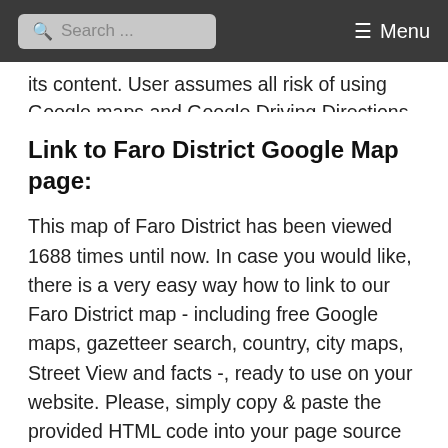Search ... Menu
its content. User assumes all risk of using Google maps and Google Driving Directions. World Route Planner assumes no responsibility for any loss or delay resulting from such use of free Faro District map.
Link to Faro District Google Map page:
This map of Faro District has been viewed 1688 times until now. In case you would like, there is a very easy way how to link to our Faro District map - including free Google maps, gazetteer search, country, city maps, Street View and facts -, ready to use on your website. Please, simply copy & paste the provided HTML code into your page source code. Thank you